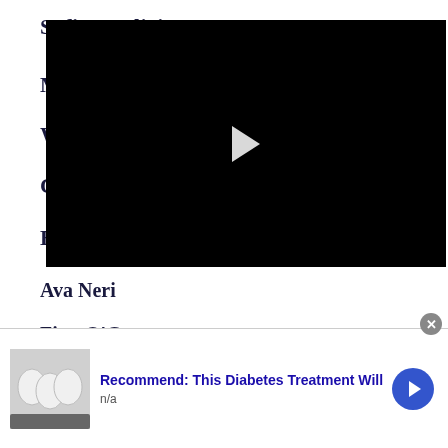Sofia Medicina
M
W
C
B
[Figure (screenshot): Black video player overlay with white play button triangle in center]
Ava Neri
Finn O’Connor
[Figure (infographic): Advertisement bar: photo of white eggs, text 'Recommend: This Diabetes Treatment Will', source 'n/a', blue arrow button, grey close X button]